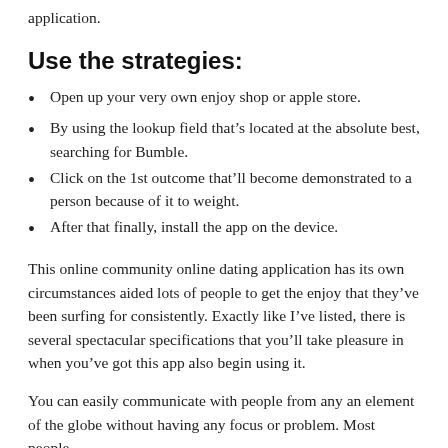application.
Use the strategies:
Open up your very own enjoy shop or apple store.
By using the lookup field that's located at the absolute best, searching for Bumble.
Click on the 1st outcome that'll become demonstrated to a person because of it to weight.
After that finally, install the app on the device.
This online community online dating application has its own circumstances aided lots of people to get the enjoy that they've been surfing for consistently. Exactly like I've listed, there is several spectacular specifications that you'll take pleasure in when you've got this app also begin using it.
You can easily communicate with people from any an element of the globe without having any focus or problem. Most people